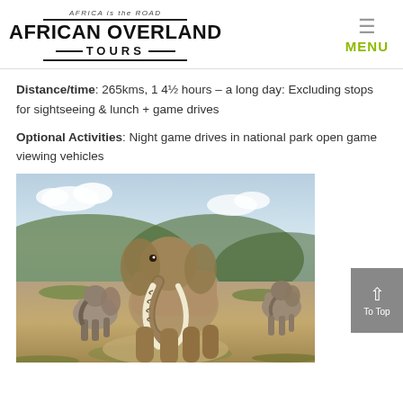AFRICA is the ROAD | AFRICAN OVERLAND TOURS | MENU
Distance/time: 265kms, 1 4½ hours – a long day: Excluding stops for sightseeing & lunch + game drives
Optional Activities: Night game drives in national park open game viewing vehicles
[Figure (photo): A herd of elephants walking toward the camera on a dirt path in an African national park, with green vegetation and a blue sky in the background. A large bull elephant with prominent white tusks is in the foreground.]